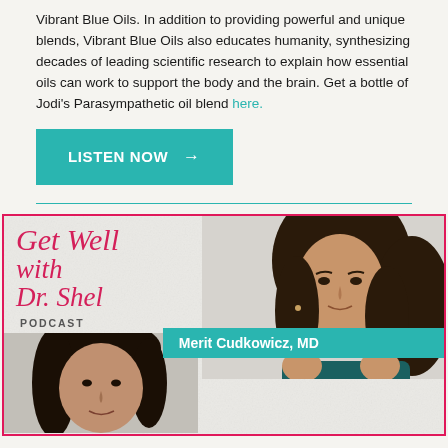Vibrant Blue Oils. In addition to providing powerful and unique blends, Vibrant Blue Oils also educates humanity, synthesizing decades of leading scientific research to explain how essential oils can work to support the body and the brain. Get a bottle of Jodi's Parasympathetic oil blend here.
LISTEN NOW →
[Figure (illustration): Podcast card for 'Get Well with Dr. Shel Podcast' featuring a photo of Merit Cudkowicz MD and Dr. Shel. Pink border, teal name banner.]